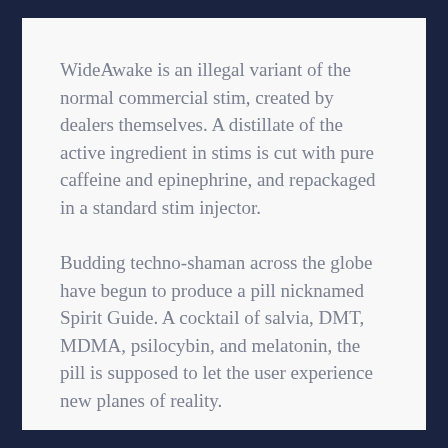WideAwake is an illegal variant of the normal commercial stim, created by dealers themselves. A distillate of the active ingredient in stims is cut with pure caffeine and epinephrine, and repackaged in a standard stim injector.
Budding techno-shaman across the globe have begun to produce a pill nicknamed Spirit Guide. A cocktail of salvia, DMT, MDMA, psilocybin, and melatonin, the pill is supposed to let the user experience new planes of reality.